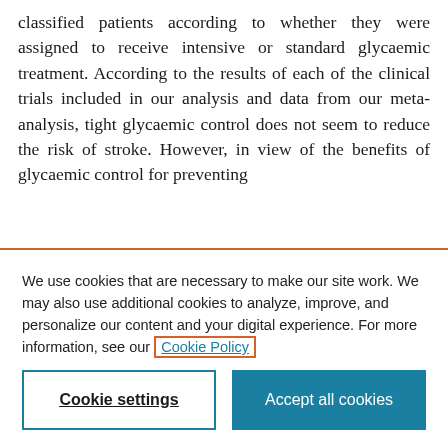classified patients according to whether they were assigned to receive intensive or standard glycaemic treatment. According to the results of each of the clinical trials included in our analysis and data from our meta-analysis, tight glycaemic control does not seem to reduce the risk of stroke. However, in view of the benefits of glycaemic control for preventing
We use cookies that are necessary to make our site work. We may also use additional cookies to analyze, improve, and personalize our content and your digital experience. For more information, see our Cookie Policy
Cookie settings
Accept all cookies